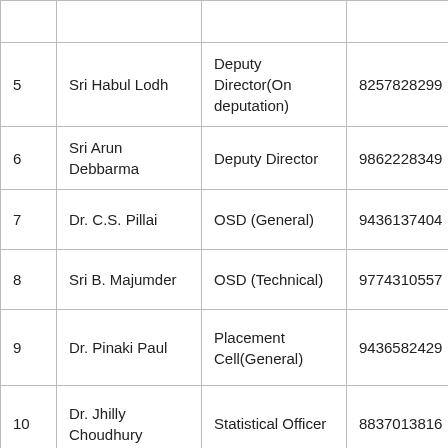| Sl. No. | Name | Designation | Mobile No. |
| --- | --- | --- | --- |
|  |  |  |  |
| 5 | Sri Habul Lodh | Deputy Director(On deputation) | 8257828299 |
| 6 | Sri Arun Debbarma | Deputy Director | 9862228349 |
| 7 | Dr. C.S. Pillai | OSD (General) | 9436137404 |
| 8 | Sri B. Majumder | OSD (Technical) | 9774310557 |
| 9 | Dr. Pinaki Paul | Placement Cell(General) | 9436582429 |
| 10 | Dr. Jhilly Choudhury | Statistical Officer | 8837013816 |
|  |  |  |  |